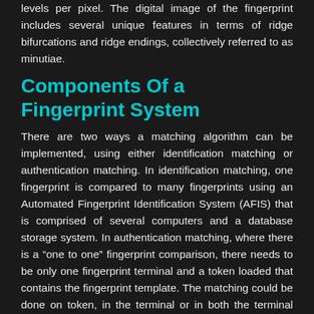levels per pixel. The digital image of the fingerprint includes several unique features in terms of ridge bifurcations and ridge endings, collectively referred to as minutiae.
Components Of a Fingerprint System
There are two ways a matching algorithm can be implemented, using either identification matching or authentication matching. In identification matching, one fingerprint is compared to many fingerprints using an Automated Fingerprint Identification System (AFIS) that is comprised of several computers and a database storage system. In authentication matching, where there is a “one to one” fingerprint comparison, there needs to be only one fingerprint terminal and a token loaded that contains the fingerprint template. The matching could be done on token, in the terminal or in both the terminal and token.
5.3.1 The Sensors
Electronic fingerprint sensors are manufactured in different ways using capacitive, optical, thermal, or pressure sensitive (resistive) technology. These different types of sensors are able to produce an image of the fingerprint when the ridge is darker than the valley. The most common sensors currently on the market are